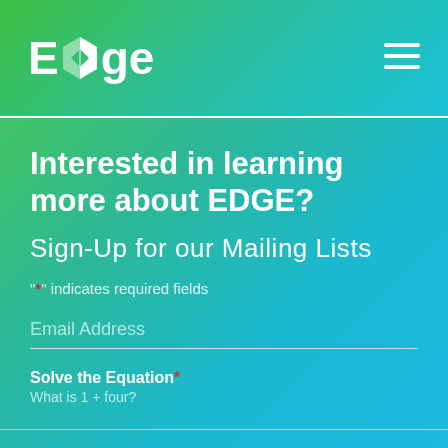Edge
Interested in learning more about EDGE?
Sign-Up for our Mailing Lists
"*" indicates required fields
Email Address
Solve the Equation *
What is 1 + four?